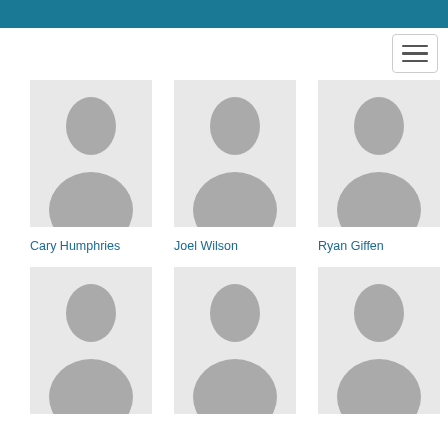[Figure (photo): Placeholder silhouette photo for Cary Humphries]
Cary Humphries
[Figure (photo): Placeholder silhouette photo for Joel Wilson]
Joel Wilson
[Figure (photo): Placeholder silhouette photo for Ryan Giffen]
Ryan Giffen
[Figure (photo): Placeholder silhouette photo (row 2, col 1)]
[Figure (photo): Placeholder silhouette photo (row 2, col 2)]
[Figure (photo): Placeholder silhouette photo (row 2, col 3)]